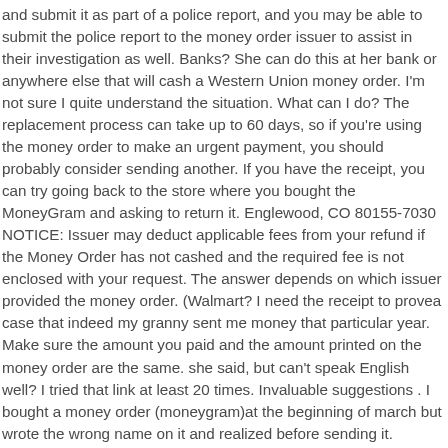and submit it as part of a police report, and you may be able to submit the police report to the money order issuer to assist in their investigation as well. Banks? She can do this at her bank or anywhere else that will cash a Western Union money order. I'm not sure I quite understand the situation. What can I do? The replacement process can take up to 60 days, so if you're using the money order to make an urgent payment, you should probably consider sending another. If you have the receipt, you can try going back to the store where you bought the MoneyGram and asking to return it. Englewood, CO 80155-7030 NOTICE: Issuer may deduct applicable fees from your refund if the Money Order has not cashed and the required fee is not enclosed with your request. The answer depends on which issuer provided the money order. (Walmart? I need the receipt to provea case that indeed my granny sent me money that particular year. Make sure the amount you paid and the amount printed on the money order are the same. she said, but can't speak English well? I tried that link at least 20 times. Invaluable suggestions . I bought a money order (moneygram)at the beginning of march but wrote the wrong name on it and realized before sending it. Ultimately, the decision is up to you. How long does take to get a refund issued? That doesn't necessarily mean the money is completely gone. To